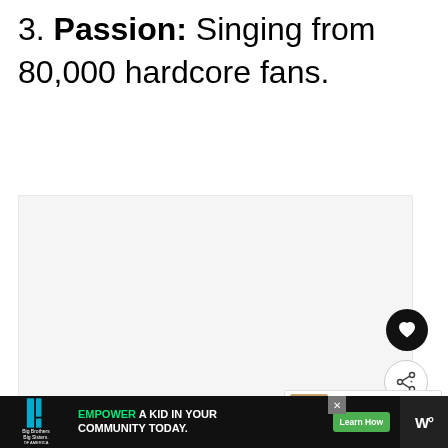3. Passion: Singing from 80,000 hardcore fans.
[Figure (photo): Image placeholder area with light gray background, navigation dots below, heart/share action buttons on right side]
WHAT'S NEXT → 32 Cool and Creative...
[Figure (illustration): Advertisement bar at bottom: Big Brothers Big Sisters logo on left, green text 'EMPOWER A KID IN YOUR COMMUNITY TODAY.' with 'Learn How' button, W° logo on right]